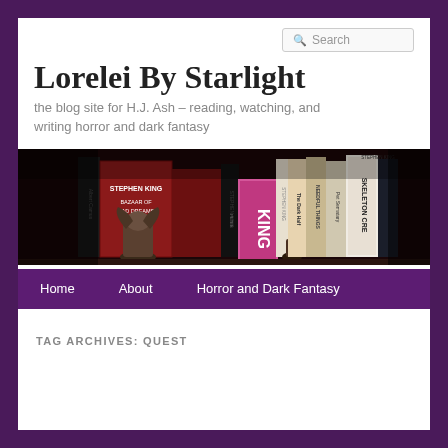Search
Lorelei By Starlight
the blog site for H.J. Ash – reading, watching, and writing horror and dark fantasy
[Figure (photo): A dark photograph of a bookshelf filled with Stephen King novels including 'Bazaar of Bad Dreams', 'The Dark Half', 'Needful Things', 'Pet Sematary', and 'Skeleton Crew', with a decorative figurine on the shelf.]
Home   About   Horror and Dark Fantasy
TAG ARCHIVES: QUEST